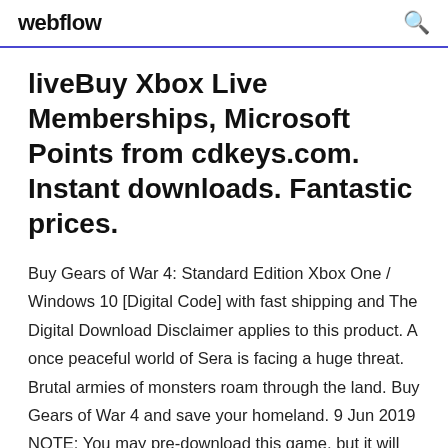webflow
liveBuy Xbox Live Memberships, Microsoft Points from cdkeys.com. Instant downloads. Fantastic prices.
Buy Gears of War 4: Standard Edition Xbox One / Windows 10 [Digital Code] with fast shipping and The Digital Download Disclaimer applies to this product. A once peaceful world of Sera is facing a huge threat. Brutal armies of monsters roam through the land. Buy Gears of War 4 and save your homeland. 9 Jun 2019 NOTE: You may pre-download this game, but it will not be playable until the release date/time: